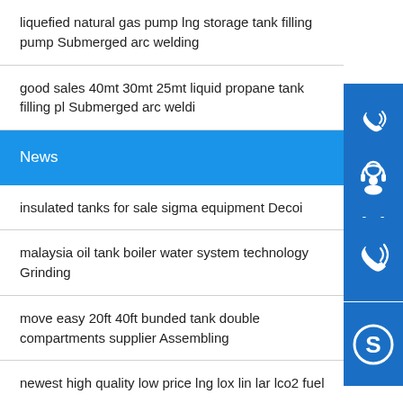liquefied natural gas pump lng storage tank filling pump Submerged arc welding
good sales 40mt 30mt 25mt liquid propane tank filling pl Submerged arc weldi
News
insulated tanks for sale sigma equipment Decoi
malaysia oil tank boiler water system technology Grinding
move easy 20ft 40ft bunded tank double compartments supplier Assembling
newest high quality low price lng lox lin lar lco2 fuel